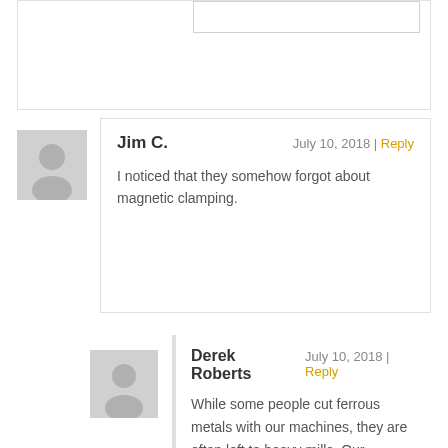[Figure (other): Partial comment box cut off at top of page]
Jim C.
July 10, 2018 | Reply
I noticed that they somehow forgot about magnetic clamping.
Derek Roberts
July 10, 2018 | Reply
While some people cut ferrous metals with our machines, they are often left to heavy mills. Our machines are for woods, composites, plastics, and softer metals like brass and aluminum. As such, a magnetic chuck wouldn't be useful to many of our users. To your point though, you can embed magnets in the spoil board and clamp thinner